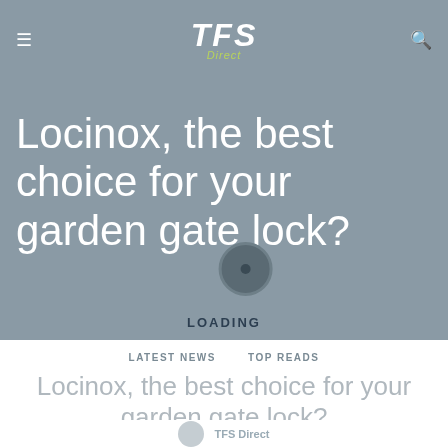TFS Direct
[Figure (screenshot): Hero banner with grey-blue background showing article title 'Locinox, the best choice for your garden gate lock?' in large white text, with a loading spinner icon and LOADING label]
LATEST NEWS    TOP READS
Locinox, the best choice for your garden gate lock?
TFS Direct